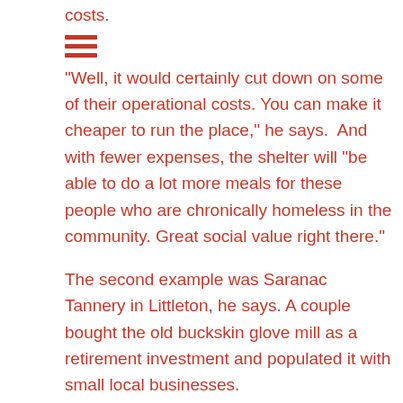costs.
[Figure (other): Three horizontal orange-red lines forming a menu/hamburger icon]
“Well, it would certainly cut down on some of their operational costs. You can make it cheaper to run the place,” he says.  And with fewer expenses, the shelter will “be able to do a lot more meals for these people who are chronically homeless in the community. Great social value right there.”
The second example was Saranac Tannery in Littleton, he says. A couple bought the old buckskin glove mill as a retirement investment and populated it with small local businesses.
The building, however, was heated by oil, and that cost too much and occupied space that could have been used by another business. Caswell says that the CDFA was able to